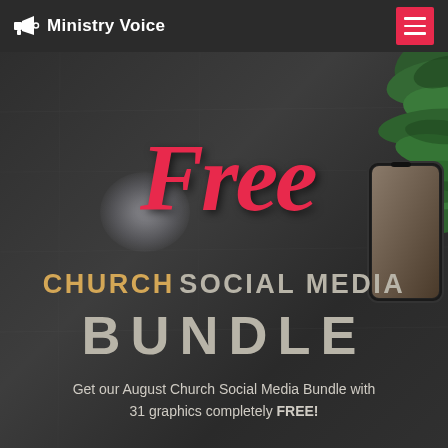Ministry Voice
[Figure (illustration): Promotional hero image with dark textured background, red cursive 'Free' text, bold 'CHURCH SOCIAL MEDIA BUNDLE' text, green foliage top-right, and a smartphone on the right side.]
Free CHURCH SOCIAL MEDIA BUNDLE
Get our August Church Social Media Bundle with 31 graphics completely FREE!